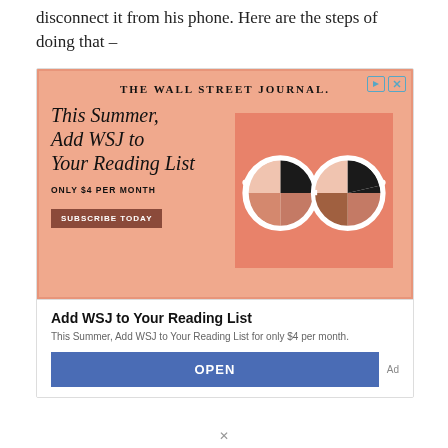disconnect it from his phone. Here are the steps of doing that –
[Figure (advertisement): Wall Street Journal advertisement with salmon/peach background. Shows 'THE WALL STREET JOURNAL.' header, headline 'This Summer, Add WSJ to Your Reading List', subtext 'ONLY $4 PER MONTH', a 'SUBSCRIBE TODAY' button, and an illustration of round glasses. Below the banner: title 'Add WSJ to Your Reading List', description 'This Summer, Add WSJ to Your Reading List for only $4 per month.', and an 'OPEN' button. Labeled 'Ad'.]